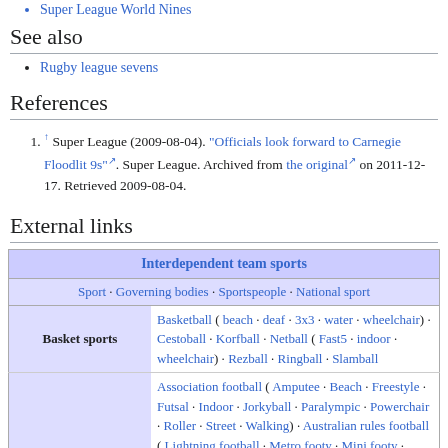Super League World Nines
See also
Rugby league sevens
References
1. ↑ Super League (2009-08-04). "Officials look forward to Carnegie Floodlit 9s". Super League. Archived from the original on 2011-12-17. Retrieved 2009-08-04.
External links
| Interdependent team sports |
| --- |
| Sport · Governing bodies · Sportspeople · National sport |
| Basket sports | Basketball ( beach · deaf · 3x3 · water · wheelchair) · Cestoball · Korfball · Netball ( Fast5 · indoor · wheelchair) · Rezball · Ringball · Slamball |
|  | Association football ( Amputee · Beach · Freestyle · Futsal · Indoor · Jorkyball · Paralympic · Powerchair · Roller · Street · Walking) · Australian rules football ( Lightning football · Metro footy · Mini footy · |